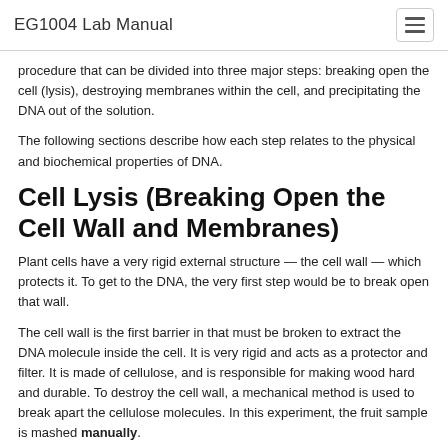EG1004 Lab Manual
procedure that can be divided into three major steps: breaking open the cell (lysis), destroying membranes within the cell, and precipitating the DNA out of the solution.
The following sections describe how each step relates to the physical and biochemical properties of DNA.
Cell Lysis (Breaking Open the Cell Wall and Membranes)
Plant cells have a very rigid external structure — the cell wall — which protects it. To get to the DNA, the very first step would be to break open that wall.
The cell wall is the first barrier in that must be broken to extract the DNA molecule inside the cell. It is very rigid and acts as a protector and filter. It is made of cellulose, and is responsible for making wood hard and durable. To destroy the cell wall, a mechanical method is used to break apart the cellulose molecules. In this experiment, the fruit sample is mashed manually.